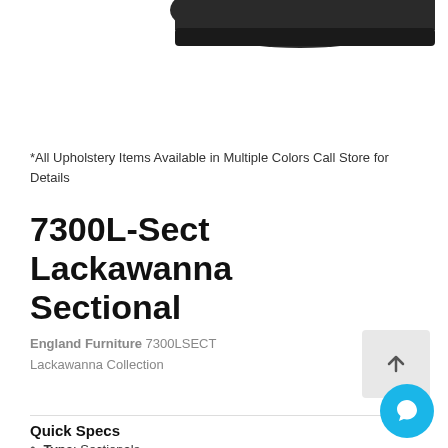[Figure (photo): Partial view of a dark-colored sectional sofa (Lackawanna Sectional) shown from above/side, cropped at the top of the page]
*All Upholstery Items Available in Multiple Colors Call Store for Details
7300L-Sect Lackawanna Sectional
England Furniture 7300LSECT
Lackawanna Collection
Quick Specs
Type: Sectionals